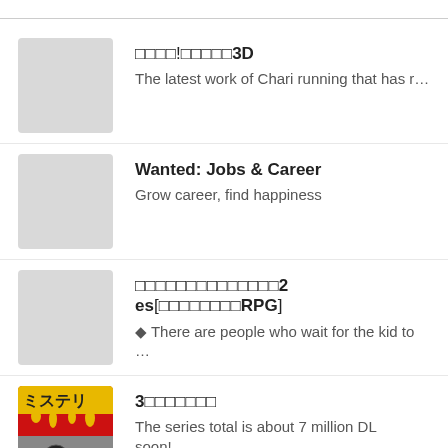□□□□!□□□□□3D
The latest work of Chari running that has r…
Wanted: Jobs & Career
Grow career, find happiness
□□□□□□□□□□□□□□□2 es[□□□□□□□□RPG]
◆ There are people who wait for the kid to …
3□□□□□□□□
The series total is about 7 million DL soon!…
□□□3D
The pig farm has become 3D!The series h…